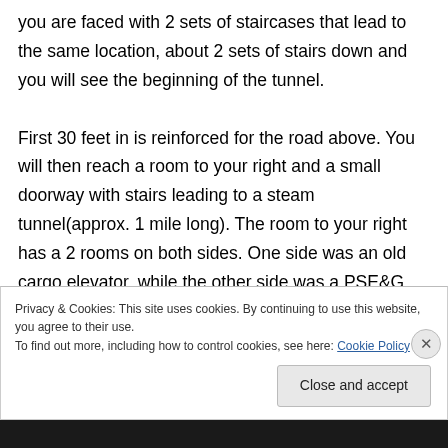you are faced with 2 sets of staircases that lead to the same location, about 2 sets of stairs down and you will see the beginning of the tunnel.

First 30 feet in is reinforced for the road above. You will then reach a room to your right and a small doorway with stairs leading to a steam tunnel(approx. 1 mile long). The room to your right has a 2 rooms on both sides. One side was an old cargo elevator, while the other side was a PSE&G room.
Privacy & Cookies: This site uses cookies. By continuing to use this website, you agree to their use.
To find out more, including how to control cookies, see here: Cookie Policy